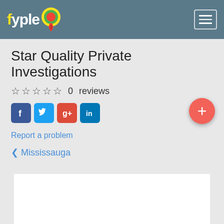fyple
Star Quality Private Investigations
☆ ☆ ☆ ☆ ☆  0  reviews
[Figure (screenshot): Social media share icons: Facebook, Twitter, Google+, LinkedIn]
Report a problem
❮ Mississauga